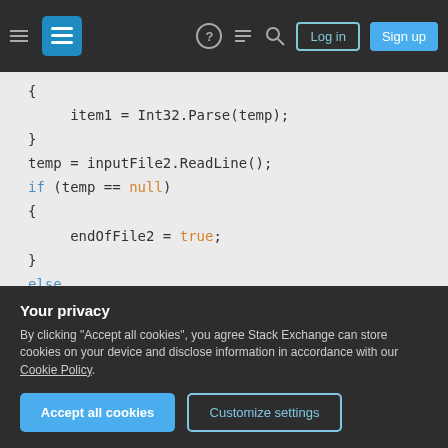Stack Exchange navigation bar with hamburger menu, logo, help, chat, search icons, Log in and Sign up buttons
[Figure (screenshot): Code snippet in C# showing file reading logic with if/else blocks and while condition. Uses monospace font on light gray background.]
Your privacy
By clicking "Accept all cookies", you agree Stack Exchange can store cookies on your device and disclose information in accordance with our Cookie Policy.